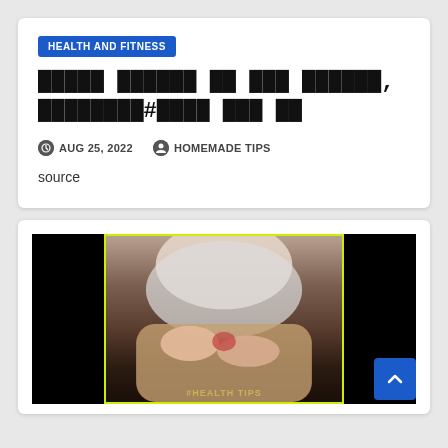HEALTH AND FITNESS
█████ ██████ ██ ███ ██████, ████████#████ ███ ██
AUG 25, 2022   HOMEMADE TIPS
source
[Figure (photo): Video thumbnail showing a person holding their knee/ankle area, with black bars on left and right, yellow-green border, and #HEALTH TIPS text at the bottom. A blue scroll-to-top button is overlaid in the bottom right corner.]